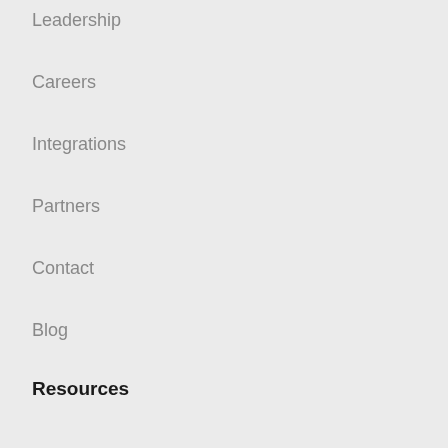Leadership
Careers
Integrations
Partners
Contact
Blog
Resources
All resources
Podcasts
White papers